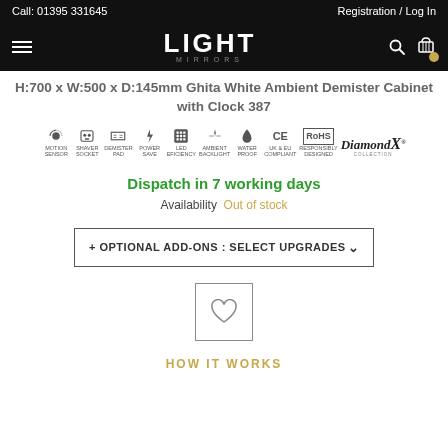Call: 01395 331645 | Registration / Log In
[Figure (logo): Light Mirrors logo with hamburger menu, search icon, and cart icon on black navigation bar]
H:700 x W:500 x D:145mm Ghita White Ambient Demister Cabinet with Clock 387
[Figure (infographic): Product feature icons: Motion Sensor, Shaver Socket, Demister Pad, Power Save, LED Efficiency, Ambient Backlight, Water Proof, UK & EU Compliant, Responsibly Designed, Diamond X Collection logo]
Dispatch in 7 working days
Availability  Out of stock
+ OPTIONAL ADD-ONS : SELECT UPGRADES
[Figure (other): Wishlist/heart icon button]
HOW IT WORKS